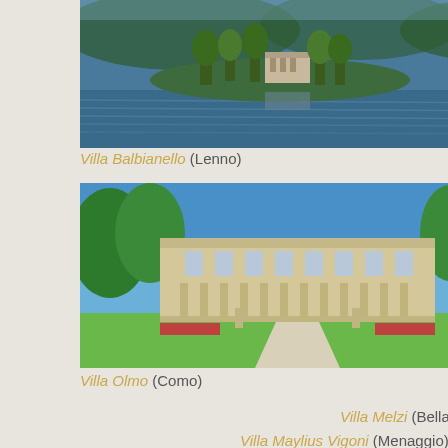[Figure (photo): Aerial/waterside photo of Villa Balbianello on a lakeside promontory at Lenno, Lake Como, showing lush greenery and water reflections]
Villa Balbianello (Lenno)
[Figure (photo): Frontal photo of Villa Olmo in Como, showing neoclassical facade with columns, formal garden and long driveway]
Villa Olmo (Como)
Villa Melzi (Bellagio)
Villa Maylius Vigoni (Menaggio)